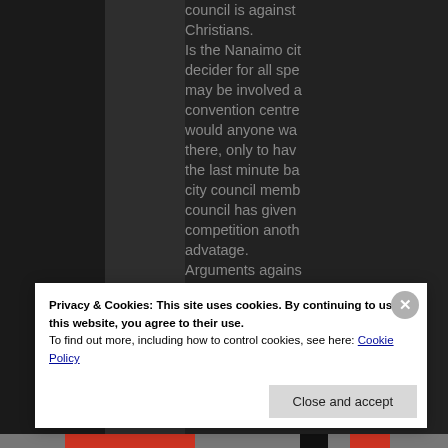[Figure (screenshot): Dark sidebar panels on left portion of page]
council is against Christians. Is the Nanaimo city decider for all spe may be involved a convention centre would anyone wa there, only to hav the last minute ba city council memb council has given competition anoth advatage. Arguments agains were poorly reaso bigots. There was in the discussion, Ch nt
Privacy & Cookies: This site uses cookies. By continuing to use this website, you agree to their use. To find out more, including how to control cookies, see here: Cookie Policy
Close and accept